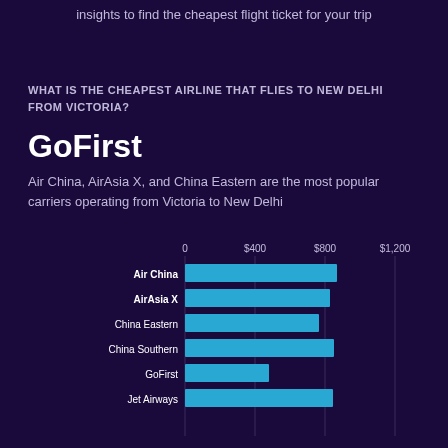insights to find the cheapest flight ticket for your trip
WHAT IS THE CHEAPEST AIRLINE THAT FLIES TO NEW DELHI FROM VICTORIA?
GoFirst
Air China, AirAsia X, and China Eastern are the most popular carriers operating from Victoria to New Delhi
[Figure (bar-chart): Airline prices from Victoria to New Delhi]